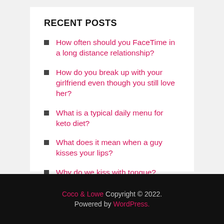RECENT POSTS
How often should you FaceTime in a long distance relationship?
How do you break up with your girlfriend even though you still love her?
What is a typical daily menu for keto diet?
What does it mean when a guy kisses your lips?
Why do we kiss with tongue?
Coco & Lowe Copyright © 2022. Powered by WordPress.